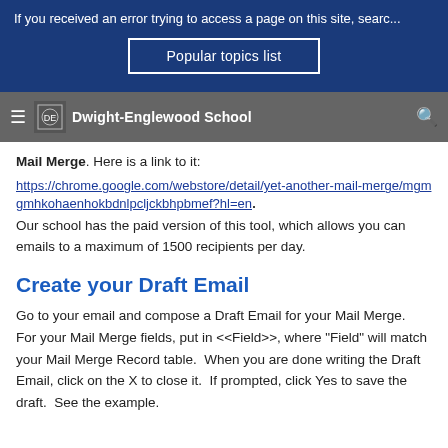If you received an error trying to access a page on this site, searc...
Popular topics list
≡ [logo] Dwight-Englewood School [search icon]
Mail Merge.  Here is a link to it:
https://chrome.google.com/webstore/detail/yet-another-mail-merge/mgmgmhkohaenhokbdnlpcljckbhpbmef?hl=en
Our school has the paid version of this tool, which allows you can emails to a maximum of 1500 recipients per day.
Create your Draft Email
Go to your email and compose a Draft Email for your Mail Merge.  For your Mail Merge fields, put in <<Field>>, where "Field" will match your Mail Merge Record table.  When you are done writing the Draft Email, click on the X to close it.  If prompted, click Yes to save the draft.  See the example.